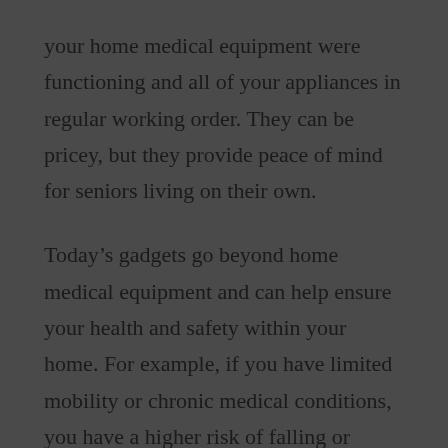your home medical equipment were functioning and all of your appliances in regular working order. They can be pricey, but they provide peace of mind for seniors living on their own.
Today’s gadgets go beyond home medical equipment and can help ensure your health and safety within your home. For example, if you have limited mobility or chronic medical conditions, you have a higher risk of falling or finding yourself somewhere in your home where you are inadvertently incapacitated.
One way to ensure peace of mind is to invest in